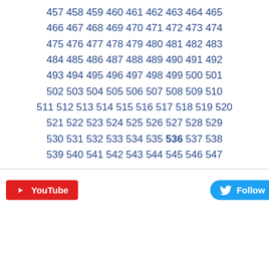457 458 459 460 461 462 463 464 465 466 467 468 469 470 471 472 473 474 475 476 477 478 479 480 481 482 483 484 485 486 487 488 489 490 491 492 493 494 495 496 497 498 499 500 501 502 503 504 505 506 507 508 509 510 511 512 513 514 515 516 517 518 519 520 521 522 523 524 525 526 527 528 529 530 531 532 533 534 535 536 537 538 539 540 541 542 543 544 545 546 547
[Figure (screenshot): YouTube button (red) and Twitter Follow button (blue)]